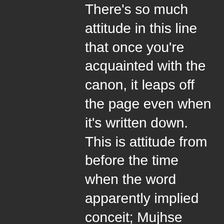There's so much attitude in this line that once you're acquainted with the canon, it leaps off the page even when it's written down. This is attitude from before the time when the word apparently implied conceit; Mujhse takraa paaya hai kaun... is a statement of fact and nothing more. That his low-pitched rake-tipped denim-clad rendition of the line has more than a